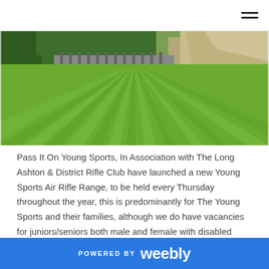[Figure (photo): Wide-angle photograph of a mowed grass shooting range with green turf and mowing stripes, trees and rocky hillside in background, shooting targets visible at far end.]
Pass It On Young Sports, In Association with The Long Ashton & District Rifle Club have launched a new Young Sports Air Rifle Range, to be held every Thursday throughout the year, this is predominantly for The Young Sports and their families, although we do have vacancies for juniors/seniors both male and female with disabled access to the regular range night with the club itself, using Air Rifles and Small Bore Rifle Shooting, we have indoor ranges up to 25m and Out Door Ranges out to
POWERED BY weebly